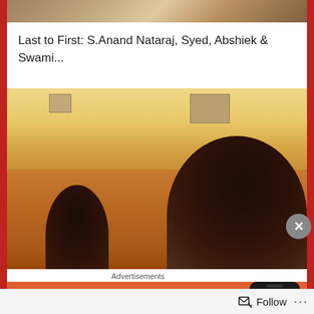[Figure (photo): Partial top view of a group photo showing people from shoulders up, warm-toned indoor setting]
Last to First: S.Anand Nataraj, Syed, Abshiek & Swami...
[Figure (photo): Indoor selfie-style photo of two men in a warmly lit restaurant or cafeteria setting, yellow-orange toned ceiling with AC unit visible, one man in close foreground on right side]
Advertisements
[Figure (screenshot): DuckDuckGo advertisement banner with orange background, text 'Search, browse, and email with more privacy.' and a phone graphic showing DuckDuckGo logo]
Follow ...